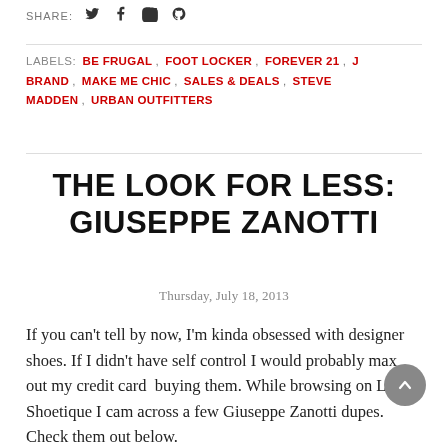SHARE:  [Twitter] [Facebook] [Google+] [Pinterest]
LABELS:  BE FRUGAL ,  FOOT LOCKER ,  FOREVER 21 ,  J BRAND ,  MAKE ME CHIC ,  SALES & DEALS ,  STEVE MADDEN ,  URBAN OUTFITTERS
THE LOOK FOR LESS: GIUSEPPE ZANOTTI
Thursday, July 18, 2013
If you can't tell by now, I'm kinda obsessed with designer shoes. If I didn't have self control I would probably max out my credit card  buying them. While browsing on Lola Shoetique I cam across a few Giuseppe Zanotti dupes. Check them out below.